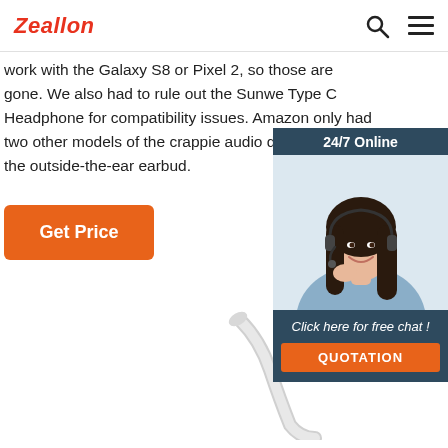Zeallon
work with the Galaxy S8 or Pixel 2, so those are gone. We also had to rule out the Sunwe Type C Headphone for compatibility issues. Amazon only had two other models of the crappie audio design ever: the outside-the-ear earbud.
[Figure (other): Orange 'Get Price' button]
[Figure (photo): Chat widget showing '24/7 Online', photo of a woman with a headset smiling, text 'Click here for free chat!' and an orange 'QUOTATION' button]
[Figure (photo): White earbud cord/wire product photo on white background]